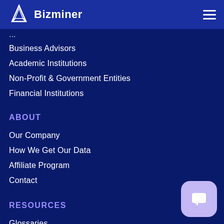Bizminer
Business Advisors
Academic Institutions
Non-Profit & Government Entities
Financial Institutions
ABOUT
Our Company
How We Get Our Data
Affiliate Program
Contact
RESOURCES
Glossaries
[Figure (other): Chat/support bubble icon in bottom right corner]